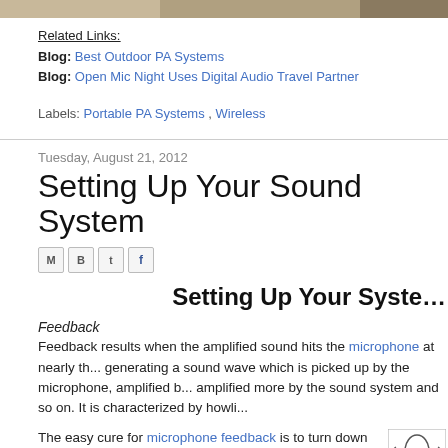[Figure (photo): Partial top image strip, appears to be an outdoor or nature photo]
Related Links:
Blog: Best Outdoor PA Systems
Blog: Open Mic Night Uses Digital Audio Travel Partner
Labels: Portable PA Systems , Wireless
Tuesday, August 21, 2012
Setting Up Your Sound System
[Figure (screenshot): Social share icons: M (Gmail), B (Blogger), t (Twitter), f (Facebook)]
Setting Up Your System
Feedback
Feedback results when the amplified sound hits the microphone at nearly th... generating a sound wave which is picked up by the microphone, amplified b... amplified more by the sound system and so on. It is characterized by howli...
The easy cure for microphone feedback is to turn down the volume. The feedback goes away but now everyone couldn't hear...
[Figure (illustration): Small illustration of a microphone/speaker in bottom right corner]